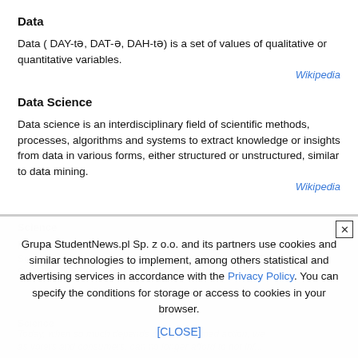Data
Data ( DAY-tə, DAT-ə, DAH-tə) is a set of values of qualitative or quantitative variables.
Wikipedia
Data Science
Data science is an interdisciplinary field of scientific methods, processes, algorithms and systems to extract knowledge or insights from data in various forms, either structured or unstructured, similar to data mining.
Wikipedia
Grupa StudentNews.pl Sp. z o.o. and its partners use cookies and similar technologies to implement, among others statistical and advertising services in accordance with the Privacy Policy. You can specify the conditions for storage or access to cookies in your browser. [CLOSE]